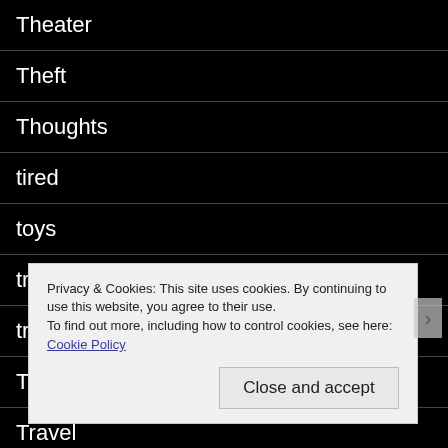Theater
Theft
Thoughts
tired
toys
trains
transportation
Trash
Travel
Privacy & Cookies: This site uses cookies. By continuing to use this website, you agree to their use.
To find out more, including how to control cookies, see here: Cookie Policy
Close and accept